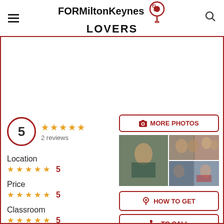[Figure (logo): FORMiltonKeynes LOVERS logo with map pin icon]
5  ★★★★★  2 reviews
Location  ★★★★★  5
Price  ★★★★★  5
Classroom  ★★★★★  5
Facilities  ★★★★★  5
[Figure (photo): Collage of students studying and smiling]
📷 MORE PHOTOS
📍 HOW TO GET
📞 TO CALL